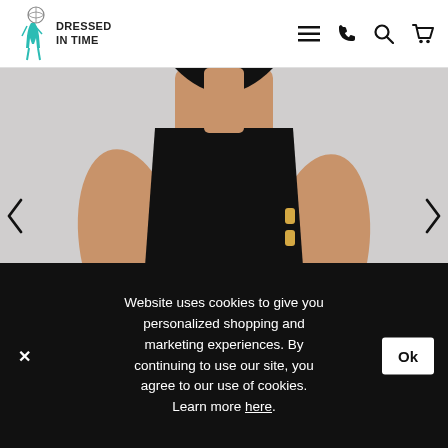DRESSED IN TIME — navigation header with logo, menu, phone, search, and cart icons
[Figure (photo): Close-up photo of a woman wearing a black sleeveless bodycon dress, hands on hips, against a light grey background. Navigation arrows visible on left and right sides.]
Website uses cookies to give you personalized shopping and marketing experiences. By continuing to use our site, you agree to our use of cookies. Learn more here.